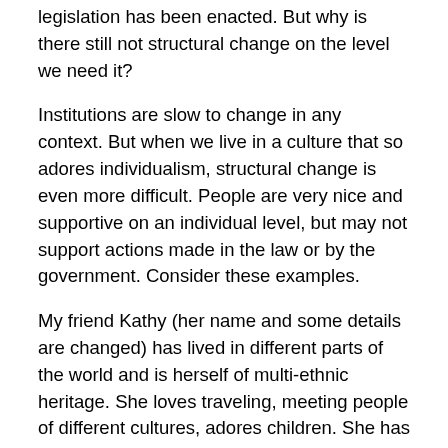legislation has been enacted. But why is there still not structural change on the level we need it?
Institutions are slow to change in any context. But when we live in a culture that so adores individualism, structural change is even more difficult. People are very nice and supportive on an individual level, but may not support actions made in the law or by the government. Consider these examples.
My friend Kathy (her name and some details are changed) has lived in different parts of the world and is herself of multi-ethnic heritage. She loves traveling, meeting people of different cultures, adores children. She has a high level career in a field where she has to navigate dealing with many men. Kathy is one of the kindest and warmest people you could ever meet, always includes people in her